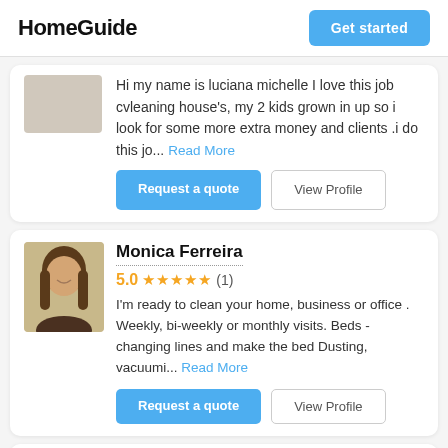HomeGuide | Get started
Hi my name is luciana michelle I love this job cvleaning house's, my 2 kids grown in up so i look for some more extra money and clients .i do this jo... Read More
Request a quote | View Profile
Monica Ferreira
5.0 ★★★★★ (1)
I'm ready to clean your home, business or office . Weekly, bi-weekly or monthly visits. Beds - changing lines and make the bed Dusting,  vacuumi... Read More
Request a quote | View Profile